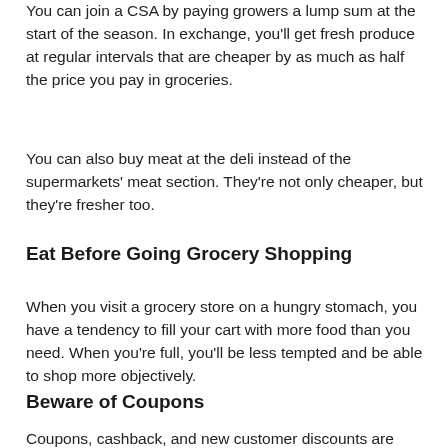You can join a CSA by paying growers a lump sum at the start of the season. In exchange, you'll get fresh produce at regular intervals that are cheaper by as much as half the price you pay in groceries.
You can also buy meat at the deli instead of the supermarkets' meat section. They're not only cheaper, but they're fresher too.
Eat Before Going Grocery Shopping
When you visit a grocery store on a hungry stomach, you have a tendency to fill your cart with more food than you need. When you're full, you'll be less tempted and be able to shop more objectively.
Beware of Coupons
Coupons, cashback, and new customer discounts are great